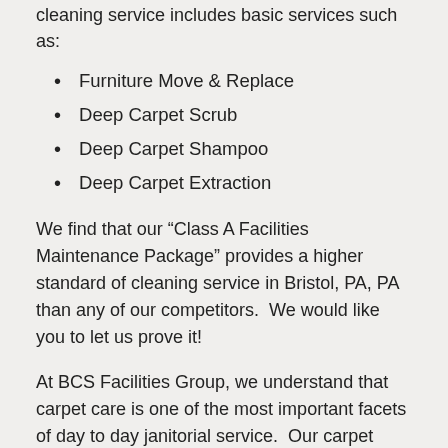cleaning service includes basic services such as:
Furniture Move & Replace
Deep Carpet Scrub
Deep Carpet Shampoo
Deep Carpet Extraction
We find that our “Class A Facilities Maintenance Package” provides a higher standard of cleaning service in Bristol, PA, PA than any of our competitors.  We would like you to let us prove it!
At BCS Facilities Group, we understand that carpet care is one of the most important facets of day to day janitorial service.  Our carpet cleaning process is based around the daily use of “Hepa Certified” vacuum cleaners.  Our vacuums are built to reduce the allergens in the carpets as well as the air.  Removing the dirt, debris and sediment embedded deep in the carpet fibers is imperative for a